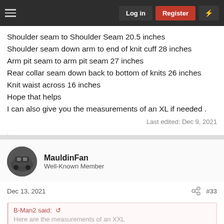Log in | Register
Shoulder seam to Shoulder Seam 20.5 inches
Shoulder seam down arm to end of knit cuff 28 inches
Arm pit seam to arm pit seam 27 inches
Rear collar seam down back to bottom of knits 26 inches
Knit waist across 16 inches
Hope that helps
I can also give you the measurements of an XL if needed .
Last edited: Dec 9, 2021
bn1966
MauldinFan
Well-Known Member
Dec 13, 2021
#33
B-Man2 said:
Here are the measurements of an XXL